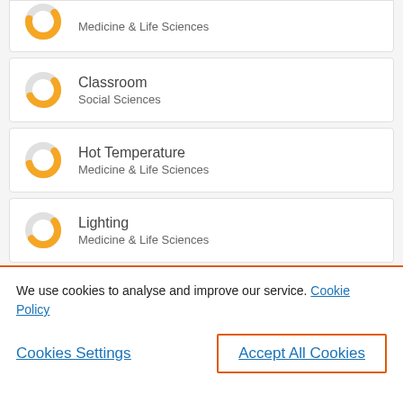Students — Medicine & Life Sciences
Classroom — Social Sciences
Hot Temperature — Medicine & Life Sciences
Lighting — Medicine & Life Sciences
Acoustics — Social Sciences
We use cookies to analyse and improve our service. Cookie Policy
Cookies Settings
Accept All Cookies